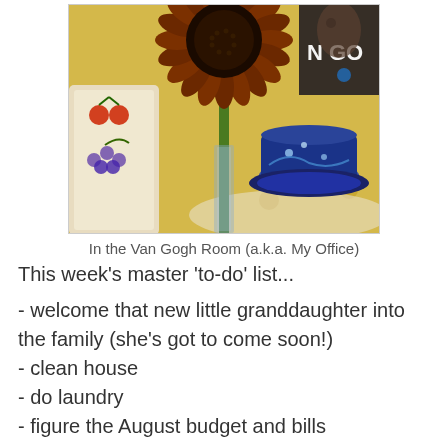[Figure (photo): A sunflower in a glass vase on a yellow tablecloth, with a Van Gogh themed teacup and saucer, and a book or poster in background with text 'N GO'. Colorful decorative items visible on the left.]
In the Van Gogh Room (a.k.a. My Office)
This week's master 'to-do' list...
- welcome that new little granddaughter into the family (she's got to come soon!)
- clean house
- do laundry
- figure the August budget and bills
- vote
- go to the bank